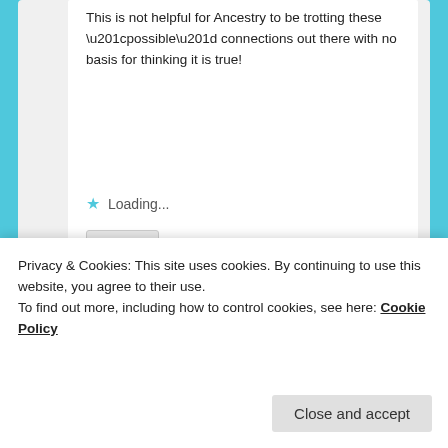This is not helpful for Ancestry to be trotting these “possible” connections out there with no basis for thinking it is true!
Loading...
Reply ↓
[Figure (illustration): A teal and white geometric checkerboard-style avatar/logo with triangles and squares forming a pattern]
Loading...
Privacy & Cookies: This site uses cookies. By continuing to use this website, you agree to their use.
To find out more, including how to control cookies, see here: Cookie Policy
Close and accept